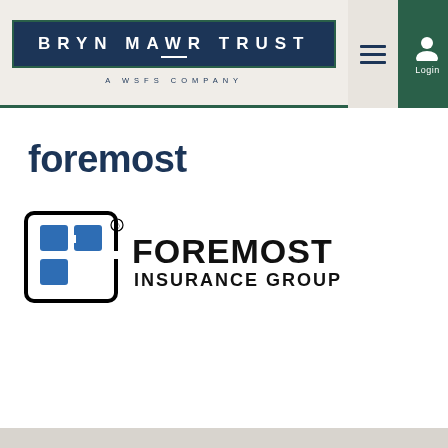[Figure (logo): Bryn Mawr Trust - A WSFS Company logo with navigation icons (hamburger menu and login)]
foremost
[Figure (logo): Foremost Insurance Group logo with stylized F icon in blue and black text]